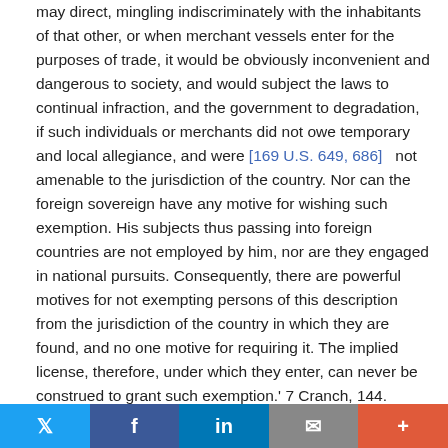may direct, mingling indiscriminately with the inhabitants of that other, or when merchant vessels enter for the purposes of trade, it would be obviously inconvenient and dangerous to society, and would subject the laws to continual infraction, and the government to degradation, if such individuals or merchants did not owe temporary and local allegiance, and were [169 U.S. 649, 686]   not amenable to the jurisdiction of the country. Nor can the foreign sovereign have any motive for wishing such exemption. His subjects thus passing into foreign countries are not employed by him, nor are they engaged in national pursuits. Consequently, there are powerful motives for not exempting persons of this description from the jurisdiction of the country in which they are found, and no one motive for requiring it. The implied license, therefore, under which they enter, can never be construed to grant such exemption.' 7 Cranch, 144.
Twitter | Facebook | LinkedIn | Email | More